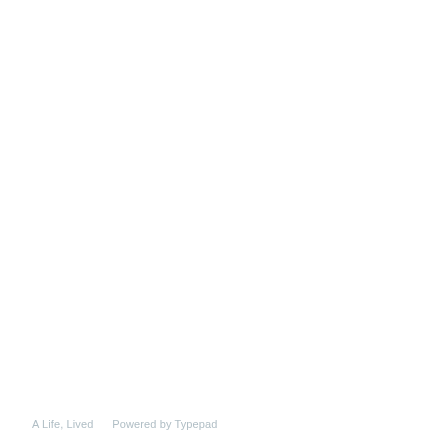A Life, Lived     Powered by Typepad